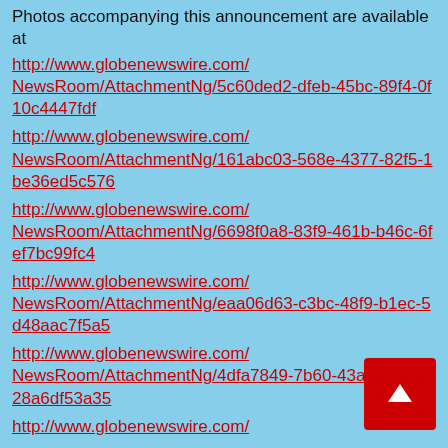Photos accompanying this announcement are available at
http://www.globenewswire.com/NewsRoom/AttachmentNg/5c60ded2-dfeb-45bc-89f4-0f10c4447fdf
http://www.globenewswire.com/NewsRoom/AttachmentNg/161abc03-568e-4377-82f5-1be36ed5c576
http://www.globenewswire.com/NewsRoom/AttachmentNg/6698f0a8-83f9-461b-b46c-6fef7bc99fc4
http://www.globenewswire.com/NewsRoom/AttachmentNg/eaa06d63-c3bc-48f9-b1ec-5d48aac7f5a5
http://www.globenewswire.com/NewsRoom/AttachmentNg/4dfa7849-7b60-43ac-9e6b-128a6df53a35
http://www.globenewswire.com/